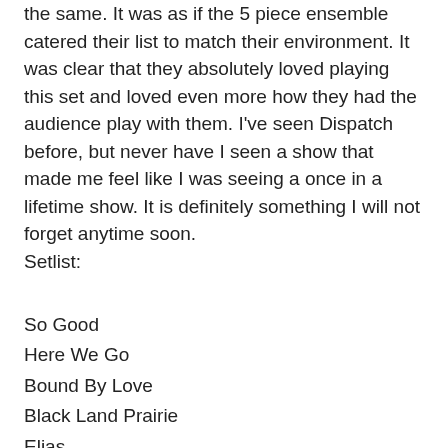the same. It was as if the 5 piece ensemble catered their list to match their environment. It was clear that they absolutely loved playing this set and loved even more how they had the audience play with them. I've seen Dispatch before, but never have I seen a show that made me feel like I was seeing a once in a lifetime show. It is definitely something I will not forget anytime soon.
Setlist:
So Good
Here We Go
Bound By Love
Black Land Prairie
Elias
Rice Water
Painted Yellow (partial)